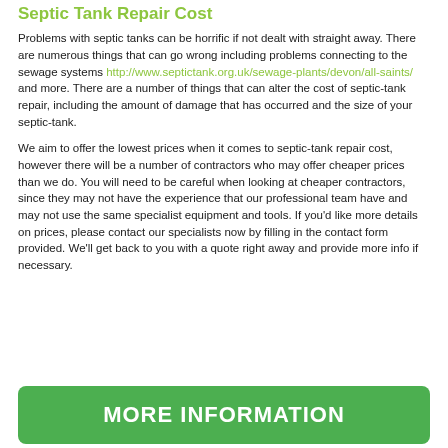Septic Tank Repair Cost
Problems with septic tanks can be horrific if not dealt with straight away. There are numerous things that can go wrong including problems connecting to the sewage systems http://www.septictank.org.uk/sewage-plants/devon/all-saints/ and more. There are a number of things that can alter the cost of septic-tank repair, including the amount of damage that has occurred and the size of your septic-tank.
We aim to offer the lowest prices when it comes to septic-tank repair cost, however there will be a number of contractors who may offer cheaper prices than we do. You will need to be careful when looking at cheaper contractors, since they may not have the experience that our professional team have and may not use the same specialist equipment and tools. If you'd like more details on prices, please contact our specialists now by filling in the contact form provided. We'll get back to you with a quote right away and provide more info if necessary.
[Figure (other): Green button with white bold text reading MORE INFORMATION]